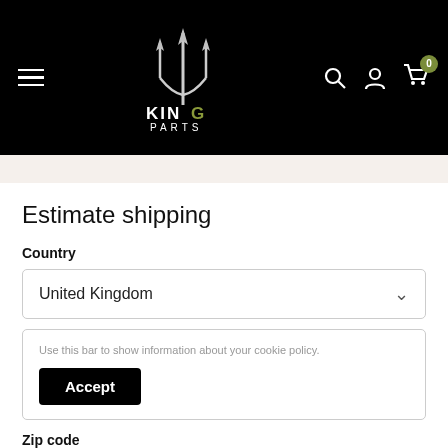[Figure (logo): King Parts logo - trident symbol above text 'KING PARTS' on black header background]
Estimate shipping
Country
United Kingdom
Use this bar to show information about your cookie policy.
Accept
Zip code